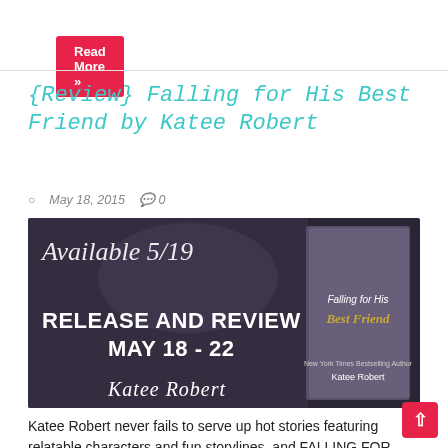Read More »
{Review} Falling for His Best Friend by Katee Robert
May 18, 2015   💬 0
[Figure (photo): Release and Review Blitz promotional image for 'Falling for His Best Friend' by Katee Robert. Available 5/19. Release and Review Blitz May 18-22. Shows book cover with female figure.]
Katee Robert never fails to serve up hot stories featuring relatable characters and fun storylines, and FALLING FOR HIS BEST FRIEND is no different!